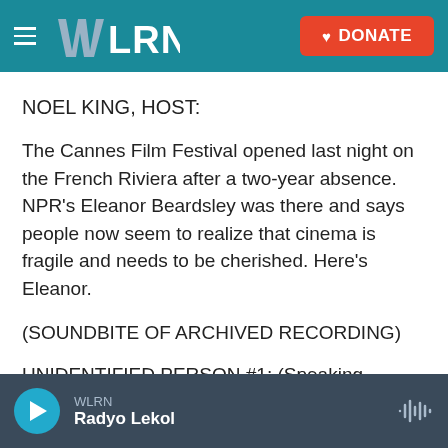WLRN — DONATE
NOEL KING, HOST:
The Cannes Film Festival opened last night on the French Riviera after a two-year absence. NPR's Eleanor Beardsley was there and says people now seem to realize that cinema is fragile and needs to be cherished. Here's Eleanor.
(SOUNDBITE OF ARCHIVED RECORDING)
UNIDENTIFIED PERSON #1: (Speaking French).
WLRN — Radyo Lekol